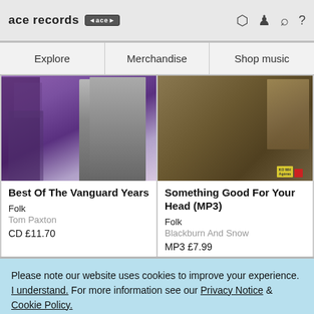ace records [ace logo]
Explore | Merchandise | Shop music
[Figure (photo): Album cover for Best Of The Vanguard Years — purple-tinted street photo of a person from behind]
Best Of The Vanguard Years
Folk
Tom Paxton
CD £11.70
[Figure (photo): Album cover for Something Good For Your Head (MP3) — two women with guitar on a boat]
Something Good For Your Head (MP3)
Folk
Blackburn And Snow
MP3 £7.99
Please note our website uses cookies to improve your experience. I understand. For more information see our Privacy Notice & Cookie Policy.